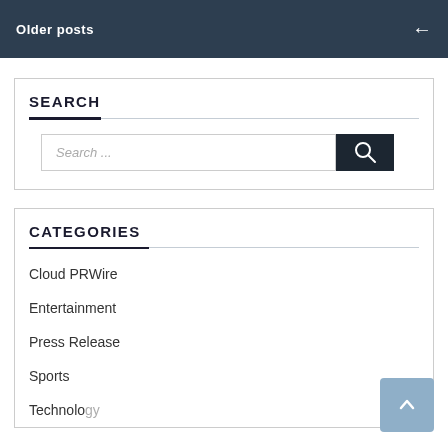Older posts
SEARCH
[Figure (screenshot): Search input field with placeholder 'Search ...' and a dark search button with magnifying glass icon]
CATEGORIES
Cloud PRWire
Entertainment
Press Release
Sports
Technology